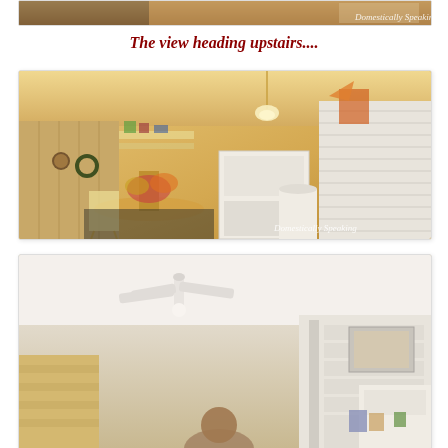[Figure (photo): Partial top photo of an antique/vintage shop interior, warmly lit, with watermark 'Domestically Speaking' in bottom right corner.]
The view heading upstairs....
[Figure (photo): Interior of a vintage/antique gift shop with warm yellow lighting, wooden paneling, display tables with flowers and decorative items, shelving with various goods, and a watermark 'Domestically Speaking' in the bottom right corner.]
[Figure (photo): Partial view of an upstairs interior space, with white ceiling fan, light-colored ceiling and walls, bookshelves visible, and a person partially visible at the bottom of the frame.]